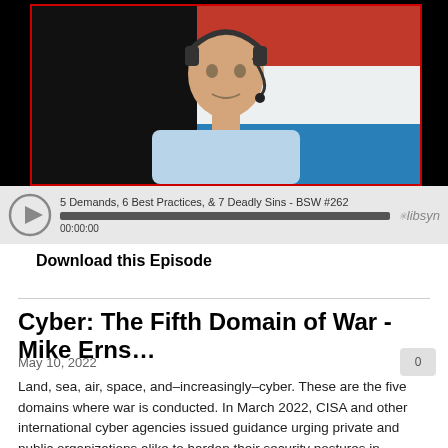[Figure (screenshot): Video player showing a man with a headset microphone in front of a flag background. Below the video is an audio player bar with the title '5 Demands, 6 Best Practices, & 7 Deadly Sins - BSW #262', a progress bar, timestamp '00:00:00', and libsyn logo.]
Download this Episode
Cyber: The Fifth Domain of War - Mike Erns…
May 10, 2022
Land, sea, air, space, and–increasingly–cyber. These are the five domains where war is conducted. In March 2022, CISA and other international cyber agencies issued guidance urging private and public organizations alike to harden their security postures in preparation for cyber fallout. However, to date, the cyber fallout from the conflict has been minor, leaving some questioning the seriousness of the threat. ExtraHop VP of Sales Engineering,